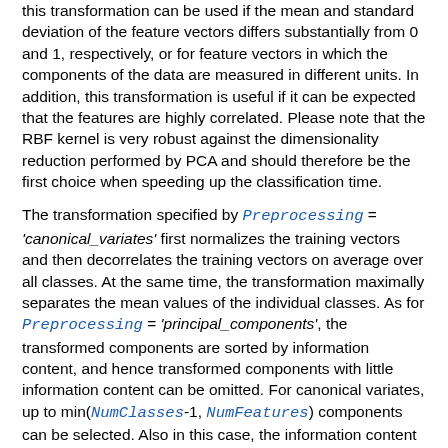this transformation can be used if the mean and standard deviation of the feature vectors differs substantially from 0 and 1, respectively, or for feature vectors in which the components of the data are measured in different units. In addition, this transformation is useful if it can be expected that the features are highly correlated. Please note that the RBF kernel is very robust against the dimensionality reduction performed by PCA and should therefore be the first choice when speeding up the classification time.
The transformation specified by Preprocessing = 'canonical_variates' first normalizes the training vectors and then decorrelates the training vectors on average over all classes. At the same time, the transformation maximally separates the mean values of the individual classes. As for Preprocessing = 'principal_components', the transformed components are sorted by information content, and hence transformed components with little information content can be omitted. For canonical variates, up to min(NumClasses-1, NumFeatures) components can be selected. Also in this case, the information content of the transformed components can be determined with get_prep_info_class_svm. Like principal component